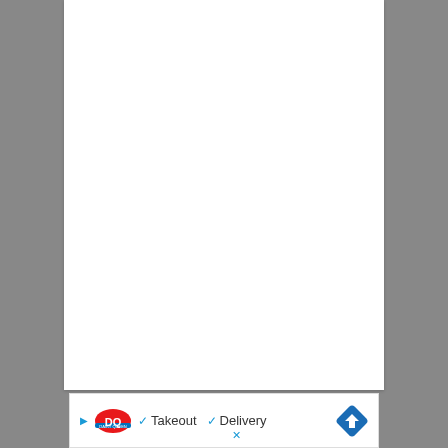[Figure (other): Dairy Queen (DQ) advertisement banner showing logo with checkmarks for Takeout and Delivery options, and a blue navigation/directions diamond icon on the right. A close (X) button appears at bottom left of the ad.]